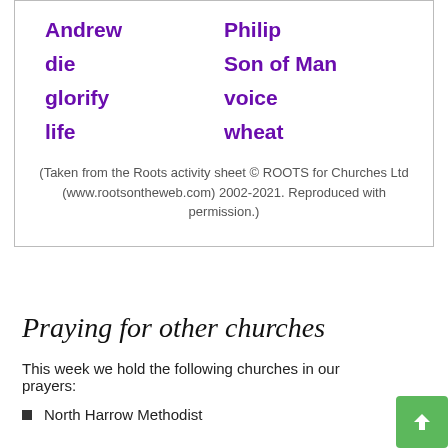| Andrew | Philip |
| die | Son of Man |
| glorify | voice |
| life | wheat |
(Taken from the Roots activity sheet © ROOTS for Churches Ltd (www.rootsontheweb.com) 2002-2021. Reproduced with permission.)
Praying for other churches
This week we hold the following churches in our prayers:
North Harrow Methodist